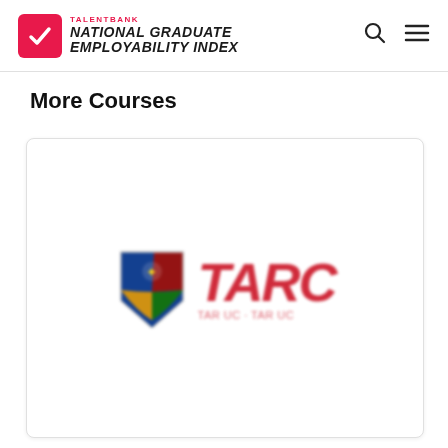TALENTBANK NATIONAL GRADUATE EMPLOYABILITY INDEX
More Courses
[Figure (logo): TARC (TAR UC) university institution logo — a colorful shield crest on the left, and the large red italic letters TARC with subtitle text on the right. Image is blurred/partially obscured.]